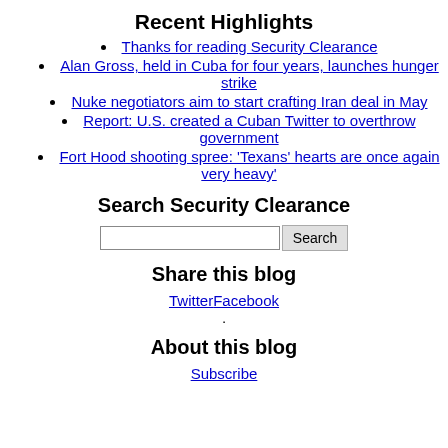Recent Highlights
Thanks for reading Security Clearance
Alan Gross, held in Cuba for four years, launches hunger strike
Nuke negotiators aim to start crafting Iran deal in May
Report: U.S. created a Cuban Twitter to overthrow government
Fort Hood shooting spree: 'Texans' hearts are once again very heavy'
Search Security Clearance
[Figure (other): Search input box and Search button]
Share this blog
TwitterFacebook
.
About this blog
Subscribe